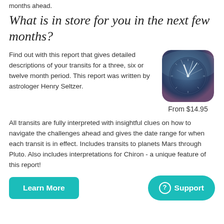months ahead.
What is in store for you in the next few months?
Find out with this report that gives detailed descriptions of your transits for a three, six or twelve month period. This report was written by astrologer Henry Seltzer.
[Figure (photo): Clock app icon showing clock face with white hands on dark blue/purple background, rounded square shape]
From $14.95
All transits are fully interpreted with insightful clues on how to navigate the challenges ahead and gives the date range for when each transit is in effect. Includes transits to planets Mars through Pluto. Also includes interpretations for Chiron - a unique feature of this report!
Learn More
Support